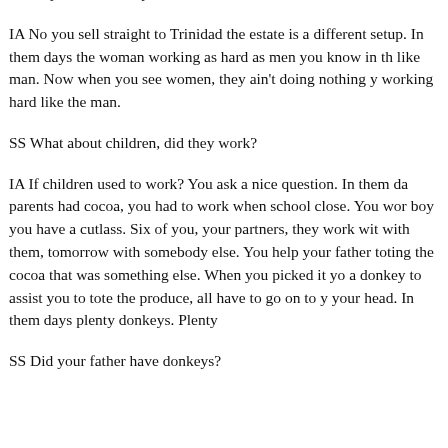SS So you didn't sell your cocoa to the estate?
IA No you sell straight to Trinidad the estate is a different setup. In them days the woman working as hard as men you know in the like man. Now when you see women, they ain't doing nothing working hard like the man.
SS What about children, did they work?
IA If children used to work? You ask a nice question. In them days parents had cocoa, you had to work when school close. You boy you have a cutlass. Six of you, your partners, they work with with them, tomorrow with somebody else. You help your father toting the cocoa that was something else. When you picked it you a donkey to assist you to tote the produce, all have to go on to your head. In them days plenty donkeys. Plenty
SS Did your father have donkeys?